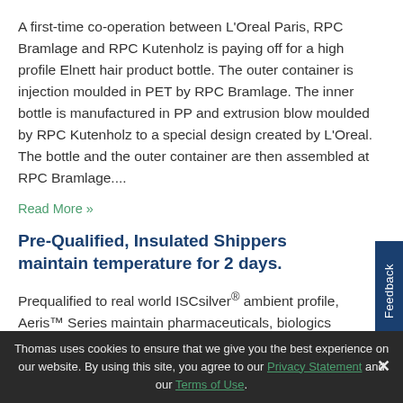A first-time co-operation between L'Oreal Paris, RPC Bramlage and RPC Kutenholz is paying off for a high profile Elnett hair product bottle. The outer container is injection moulded in PET by RPC Bramlage. The inner bottle is manufactured in PP and extrusion blow moulded by RPC Kutenholz to a special design created by L'Oreal. The bottle and the outer container are then assembled at RPC Bramlage....
Read More »
Pre-Qualified, Insulated Shippers maintain temperature for 2 days.
Prequalified to real world ISCsilver® ambient profile, Aeris™ Series maintain pharmaceuticals, biologics...
Thomas uses cookies to ensure that we give you the best experience on our website. By using this site, you agree to our Privacy Statement and our Terms of Use.